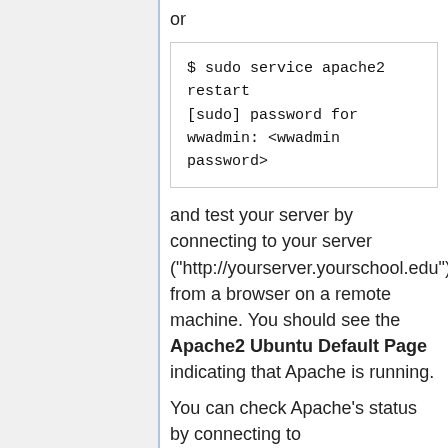or
$ sudo service apache2 restart
[sudo] password for wwadmin: <wwadmin password>
and test your server by connecting to your server ("http://yourserver.yourschool.edu") from a browser on a remote machine. You should see the Apache2 Ubuntu Default Page indicating that Apache is running.
You can check Apache's status by connecting to "http://yourserver.yourschool.edu/server-status" from a browser on a remote